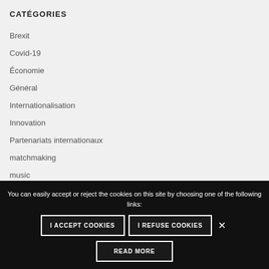CATÉGORIES
Brexit
Covid-19
Économie
Général
Internationalisation
Innovation
Partenariats internationaux
matchmaking
music
You can easily accept or reject the cookies on this site by choosing one of the following links:
I ACCEPT COOKIES  I REFUSE COOKIES  ×  READ MORE